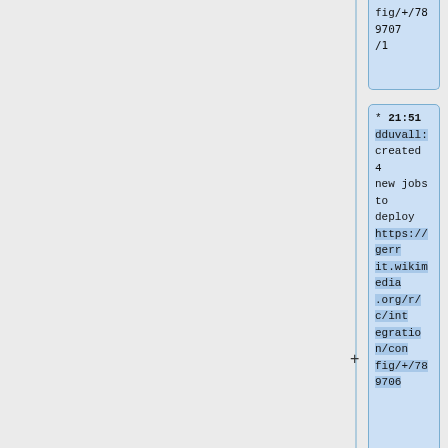fig/+/789707/1
* 21:51 dduvall: created 4 new jobs to deploy https://gerrit.wikimedia.org/r/c/integration/config/+/789706
* 21:48 dduvall: Reloading Zuul to deploy https://gerrit.wikimedia.org/r/c/integration/config/+/...